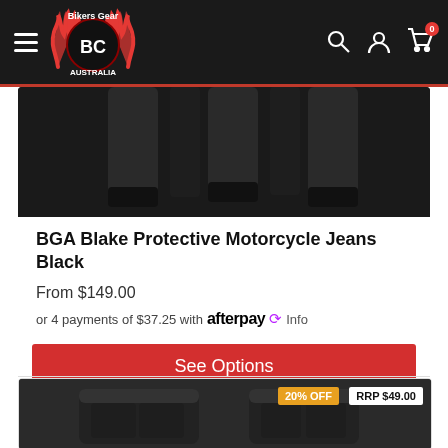Bikers Gear Australia - navigation header with hamburger menu, logo, search, account, and cart icons
[Figure (photo): Black motorcycle jeans product photo showing pant legs from knee down, displayed on white background]
BGA Blake Protective Motorcycle Jeans Black
From $149.00
or 4 payments of $37.25 with afterpay Info
See Options
[Figure (photo): Black motorcycle overpants product photo showing two views, with 20% OFF badge and RRP $49.00 label]